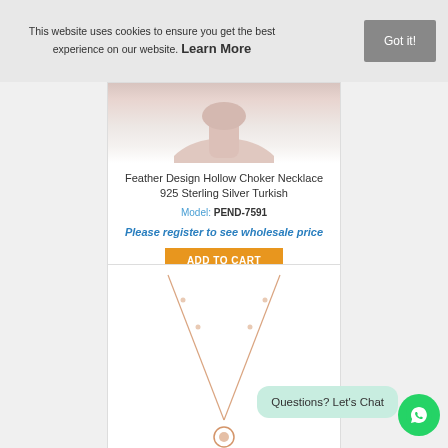This website uses cookies to ensure you get the best experience on our website. Learn More
Got it!
[Figure (photo): Product image of a feather design hollow choker necklace on a model's neck/chest area]
Feather Design Hollow Choker Necklace 925 Sterling Silver Turkish
Model: PEND-7591
Please register to see wholesale price
ADD TO CART
[Figure (photo): Product image of a rose gold necklace with chain forming a V-shape with pendant at bottom]
Questions? Let's Chat